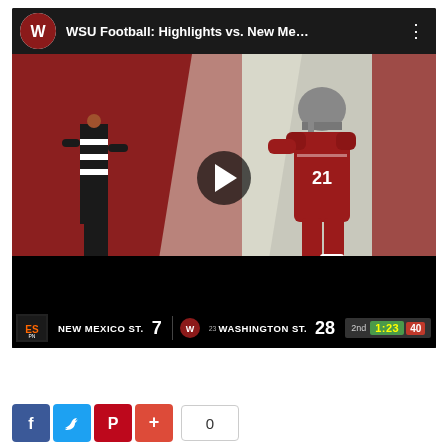[Figure (screenshot): YouTube-style video thumbnail showing WSU Football highlights vs New Mexico State. A football player in crimson #21 jersey and gray helmet walks in the end zone past a referee in black and white stripes. The scoreboard at bottom shows NEW MEXICO ST. 7 vs #23 WASHINGTON ST. 28, 2nd quarter 1:23 remaining. A play button overlay is visible in the center.]
[Figure (other): Social media sharing buttons: Facebook (blue f), Twitter (blue bird), Pinterest (red P), Google+ (red plus), followed by a share count box showing 0]